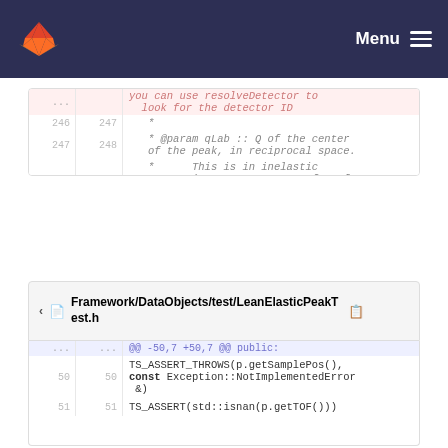Menu
| old | new | code |
| --- | --- | --- |
| ... | ... | you can use resolveDetector to look for the detector ID |
| 246 | 247 | * |
| 247 | 248 | * @param qLab :: Q of the center of the peak, in reciprocal space. |
| 248 | 249 | *       This is in inelastic convention: momentum transfer of the LATTICE! |
| ... | ... |  |
Framework/DataObjects/test/LeanElasticPeakTest.h
| old | new | code |
| --- | --- | --- |
| ... | ... | @@ -50,7 +50,7 @@ public: |
| 50 | 50 | TS_ASSERT_THROWS(p.getSamplePos(), const Exception::NotImplementedError &) |
| 51 | 51 | TS_ASSERT(std::isnan(p.getTOF())) |
| 52 | 52 |  |